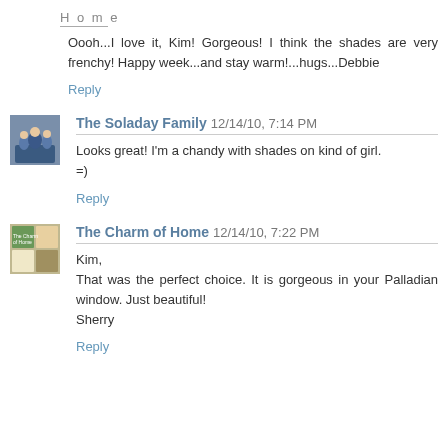Home
Oooh...I love it, Kim! Gorgeous! I think the shades are very frenchy! Happy week...and stay warm!...hugs...Debbie
Reply
The Soladay Family 12/14/10, 7:14 PM
Looks great! I'm a chandy with shades on kind of girl. =)
Reply
The Charm of Home 12/14/10, 7:22 PM
Kim,
That was the perfect choice. It is gorgeous in your Palladian window. Just beautiful!
Sherry
Reply